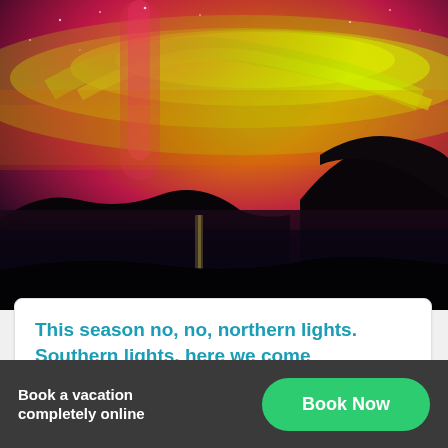[Figure (photo): Aurora australis (southern lights) photograph showing vivid red, magenta and yellow-green aurora borealis-style light display over a dark silhouetted landscape and water body at night]
This season no, no, northern lights. Southern lights, here we come
You have heard of the Arctic Princess, here's a little something about the demure Princess...
Book a vacation completely online